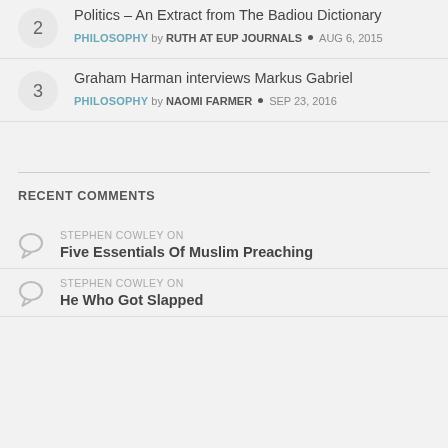Politics – An Extract from The Badiou Dictionary | PHILOSOPHY by RUTH AT EUP JOURNALS · AUG 6, 2015
Graham Harman interviews Markus Gabriel | PHILOSOPHY by NAOMI FARMER · SEP 23, 2016
RECENT COMMENTS
STEPHEN COWLEY ON Five Essentials Of Muslim Preaching
STEPHEN COWLEY ON He Who Got Slapped